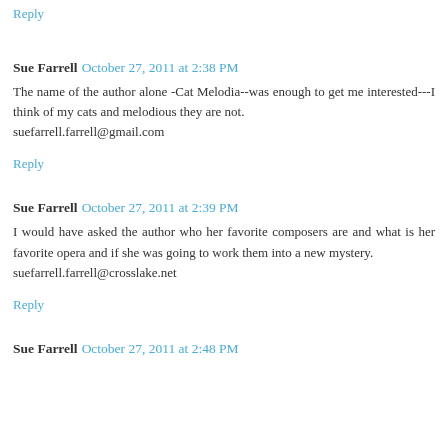Reply
Sue Farrell  October 27, 2011 at 2:38 PM
The name of the author alone -Cat Melodia--was enough to get me interested---I think of my cats and melodious they are not.
suefarrell.farrell@gmail.com
Reply
Sue Farrell  October 27, 2011 at 2:39 PM
I would have asked the author who her favorite composers are and what is her favorite opera and if she was going to work them into a new mystery.
suefarrell.farrell@crosslake.net
Reply
Sue Farrell  October 27, 2011 at 2:48 PM